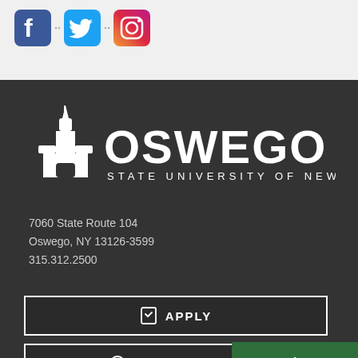[Figure (logo): Social media icons: Facebook, Twitter, Instagram]
[Figure (logo): SUNY Oswego logo: building/clock tower icon with text OSWEGO STATE UNIVERSITY OF NEW YORK]
7060 State Route 104
Oswego, NY 13126-3599
315.312.2500
APPLY
REQUEST INFO